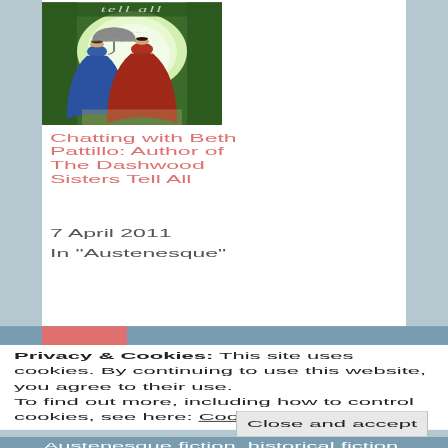[Figure (illustration): Book cover of 'The Dashwood Sisters Tell All' showing two women in ball gowns (one blue, one red) walking under an umbrella through a garden arch, with text 'tell all' at the top]
Chatting with Beth Pattillo: Author of The Dashwood Sisters Tell All
7 April 2011
In "Austenesque"
Privacy & Cookies: This site uses cookies. By continuing to use this website, you agree to their use.
To find out more, including how to control cookies, see here: Cookie Policy
Close and accept
Austenesque fiction, historical fiction,